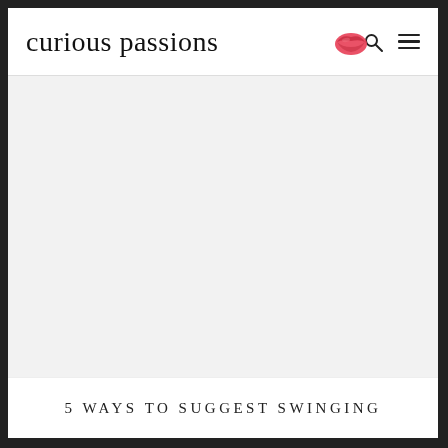curious passions 🌷
[Figure (illustration): Light gray hero image placeholder area]
5 WAYS TO SUGGEST SWINGING